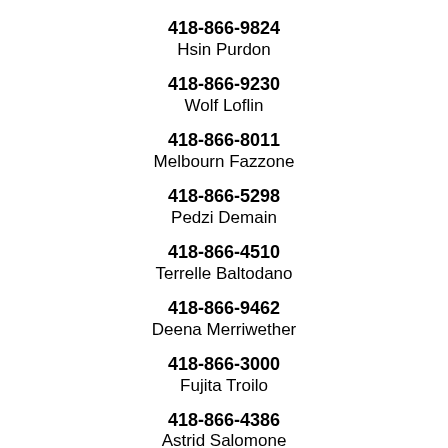418-866-9824
Hsin Purdon
418-866-9230
Wolf Loflin
418-866-8011
Melbourn Fazzone
418-866-5298
Pedzi Demain
418-866-4510
Terrelle Baltodano
418-866-9462
Deena Merriwether
418-866-3000
Fujita Troilo
418-866-4386
Astrid Salomone
418-866-7597
Zuleika Diedeman